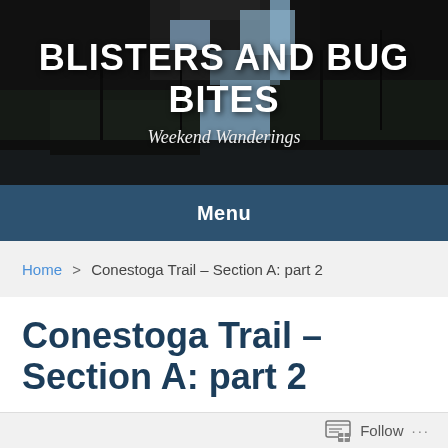[Figure (photo): Dark forest canopy background image with trees against a light sky, used as the website header banner background.]
BLISTERS AND BUG BITES
Weekend Wanderings
Menu
Home > Conestoga Trail – Section A: part 2
Conestoga Trail – Section A: part 2